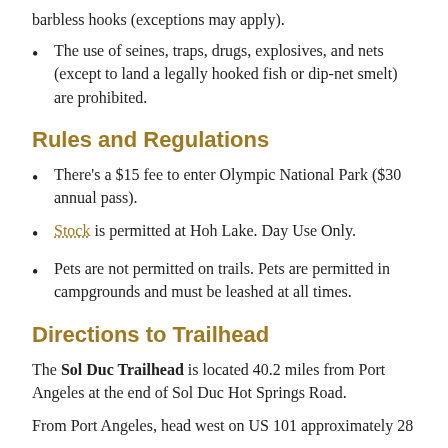barbless hooks (exceptions may apply).
The use of seines, traps, drugs, explosives, and nets (except to land a legally hooked fish or dip-net smelt) are prohibited.
Rules and Regulations
There's a $15 fee to enter Olympic National Park ($30 annual pass).
Stock is permitted at Hoh Lake. Day Use Only.
Pets are not permitted on trails. Pets are permitted in campgrounds and must be leashed at all times.
Directions to Trailhead
The Sol Duc Trailhead is located 40.2 miles from Port Angeles at the end of Sol Duc Hot Springs Road.
From Port Angeles, head west on US 101 approximately 28